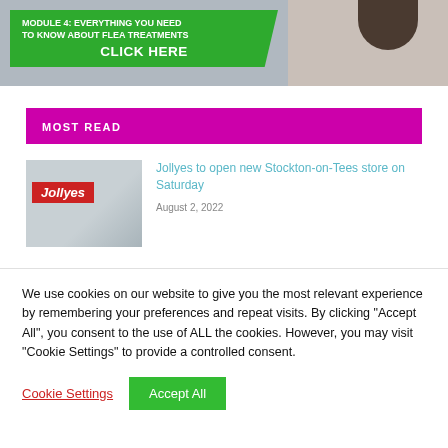[Figure (photo): Banner image showing a green overlay with text 'MODULE 4: EVERYTHING YOU NEED TO KNOW ABOUT FLEA TREATMENTS' and 'CLICK HERE', with a person in the background]
MOST READ
[Figure (photo): Thumbnail photo of Jollyes pet store front with red sign]
Jollyes to open new Stockton-on-Tees store on Saturday
August 2, 2022
We use cookies on our website to give you the most relevant experience by remembering your preferences and repeat visits. By clicking "Accept All", you consent to the use of ALL the cookies. However, you may visit "Cookie Settings" to provide a controlled consent.
Cookie Settings | Accept All